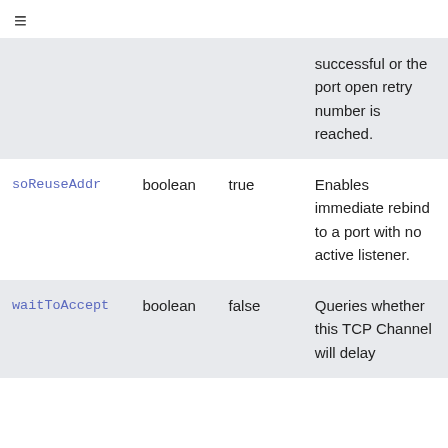≡ (list/menu icon)
| Name | Type | Default | Description |
| --- | --- | --- | --- |
|  |  |  | successful or the port open retry number is reached. |
| soReuseAddr | boolean | true | Enables immediate rebind to a port with no active listener. |
| waitToAccept | boolean | false | Queries whether this TCP Channel will delay |